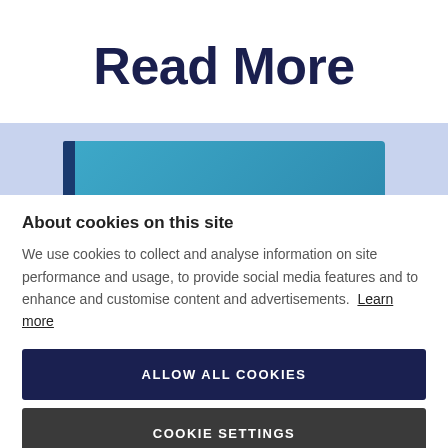Read More
[Figure (screenshot): Partial screenshot showing a light blue/lavender banner background with a dark navy sliver and a teal/blue horizontal bar element at the bottom of the strip]
About cookies on this site
We use cookies to collect and analyse information on site performance and usage, to provide social media features and to enhance and customise content and advertisements. Learn more
ALLOW ALL COOKIES
COOKIE SETTINGS